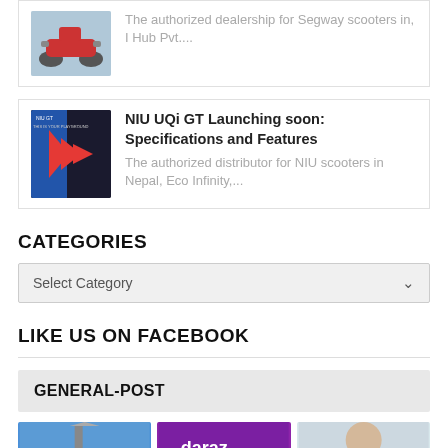[Figure (screenshot): Card showing Segway scooter image with partial text: The authorized dealership for Segway scooters in, I Hub Pvt....]
The authorized dealership for Segway scooters in, I Hub Pvt....
[Figure (screenshot): Thumbnail of NIU UQi GT scooter promotional image with red chevron arrows]
NIU UQi GT Launching soon: Specifications and Features
The authorized distributor for NIU scooters in Nepal, Eco Infinity,...
CATEGORIES
Select Category
LIKE US ON FACEBOOK
GENERAL-POST
[Figure (photo): Three thumbnail images at bottom: blue sky/antenna, daraz purple banner, person photo]